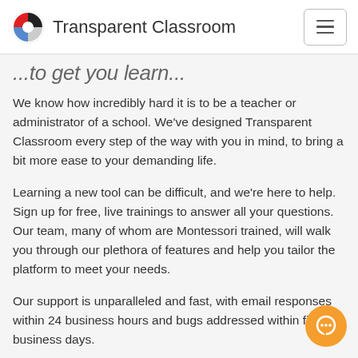Transparent Classroom
...to get you learn...
We know how incredibly hard it is to be a teacher or administrator of a school. We've designed Transparent Classroom every step of the way with you in mind, to bring a bit more ease to your demanding life.
Learning a new tool can be difficult, and we're here to help. Sign up for free, live trainings to answer all your questions. Our team, many of whom are Montessori trained, will walk you through our plethora of features and help you tailor the platform to meet your needs.
Our support is unparalleled and fast, with email responses within 24 business hours and bugs addressed within five business days.
Software doesn't have to be a frustrating, lonely experience. We're here to prove that it can be different...